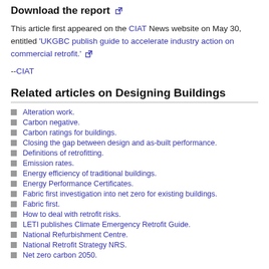Download the report
This article first appeared on the CIAT News website on May 30, entitled 'UKGBC publish guide to accelerate industry action on commercial retrofit.'
--CIAT
Related articles on Designing Buildings
Alteration work.
Carbon negative.
Carbon ratings for buildings.
Closing the gap between design and as-built performance.
Definitions of retrofitting.
Emission rates.
Energy efficiency of traditional buildings.
Energy Performance Certificates.
Fabric first investigation into net zero for existing buildings.
Fabric first.
How to deal with retrofit risks.
LETI publishes Climate Emergency Retrofit Guide.
National Refurbishment Centre.
National Retrofit Strategy NRS.
Net zero carbon 2050.